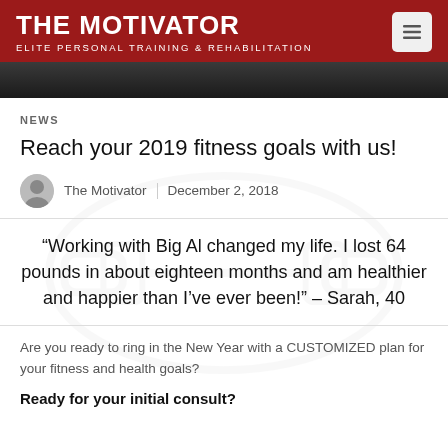THE MOTIVATOR
ELITE PERSONAL TRAINING & REHABILITATION
[Figure (photo): Dark hero image strip at top of article]
NEWS
Reach your 2019 fitness goals with us!
The Motivator   December 2, 2018
“Working with Big Al changed my life. I lost 64 pounds in about eighteen months and am healthier and happier than I’ve ever been!” – Sarah, 40
Are you ready to ring in the New Year with a CUSTOMIZED plan for your fitness and health goals?
Ready for your initial consult?